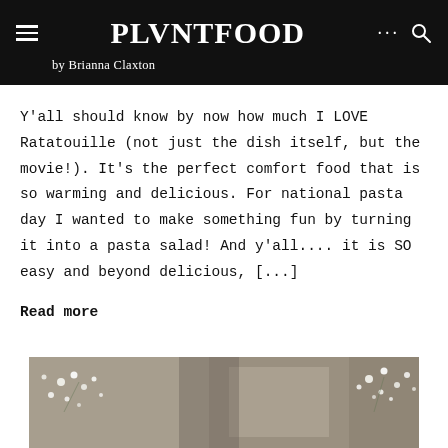PLVNTFOOD by Brianna Claxton
Y'all should know by now how much I LOVE Ratatouille (not just the dish itself, but the movie!). It's the perfect comfort food that is so warming and delicious. For national pasta day I wanted to make something fun by turning it into a pasta salad! And y'all.... it is SO easy and beyond delicious, [...]
Read more
[Figure (photo): A photo of what appears to be floral decorations with white small flowers (baby's breath) on a textured fabric or wrap, dark background.]